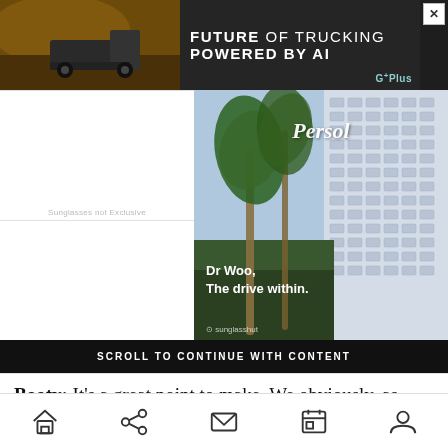[Figure (photo): Advertisement banner for 'Future of Trucking Powered by AI' by G Plus, showing a truck in a rocky landscape on the left and dark background with text on the right. An X close button in the top right.]
[Figure (photo): Persol sunglasses advertisement featuring Dr Woo campaign. Shows palm trees in front of a large white building (hotel). Persol logo in white italic script at top center. Text 'Dr Woo, The drive within.' in white at lower center. Sunglasshut watermark at bottom.]
Sunglasses not Exclusive
SCROLL TO CONTINUE WITH CONTENT
Booty: It's a great point to make. We obviously, as
[Figure (other): Bottom navigation bar with home, share, email, calendar/bookmark, and profile icons]